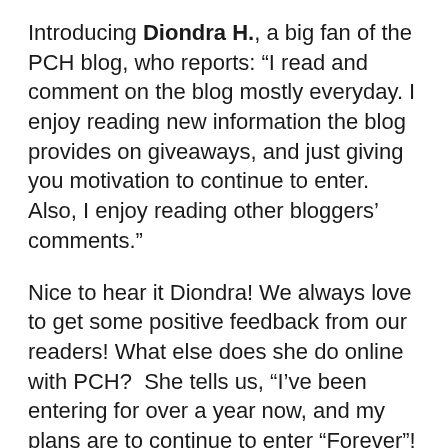Introducing Diondra H., a big fan of the PCH blog, who reports: “I read and comment on the blog mostly everyday. I enjoy reading new information the blog provides on giveaways, and just giving you motivation to continue to enter.  Also, I enjoy reading other bloggers’ comments.”
Nice to hear it Diondra! We always love to get some positive feedback from our readers! What else does she do online with PCH?  She tells us, “I’ve been entering for over a year now, and my plans are to continue to enter “Forever”!
That’s the spirit, Diondra. And how does she feel she can accomplish that ambitious goal?